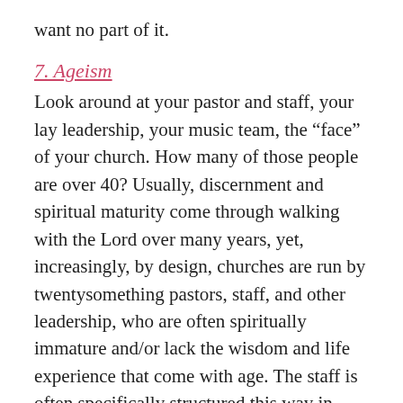want no part of it.
7. Ageism
Look around at your pastor and staff, your lay leadership, your music team, the “face” of your church. How many of those people are over 40? Usually, discernment and spiritual maturity come through walking with the Lord over many years, yet, increasingly, by design, churches are run by twentysomething pastors, staff, and other leadership, who are often spiritually immature and/or lack the wisdom and life experience that come with age. The staff is often specifically structured this way in order to attract young people to the church. The counsel and wisdom mature, godly men and women have to offer is brushed off as old fashioned, and middle aged and older church members feel alienated and unwanted. While they...